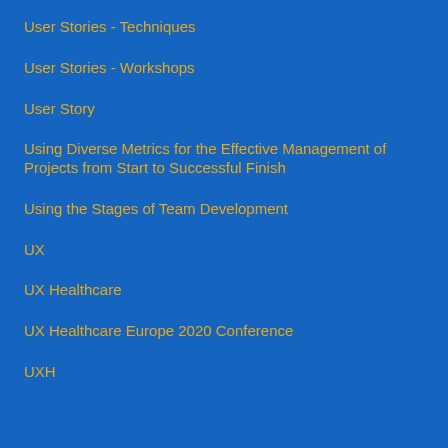User Stories - Techniques
User Stories - Workshops
User Story
Using Diverse Metrics for the Effective Management of Projects from Start to Successful Finish
Using the Stages of Team Development
UX
UX Healthcare
UX Healthcare Europe 2020 Conference
UXH